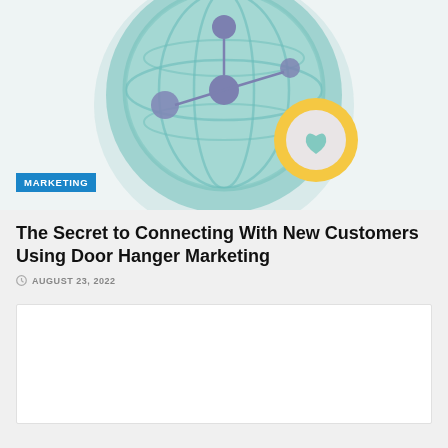[Figure (illustration): Illustrated globe with grid lines and blue/purple dot nodes connected, plus a yellow badge with a green heart checkmark. A 'MARKETING' label badge in blue appears at the bottom left.]
The Secret to Connecting With New Customers Using Door Hanger Marketing
AUGUST 23, 2022
[Figure (other): White rectangular content box (partially visible, below fold)]